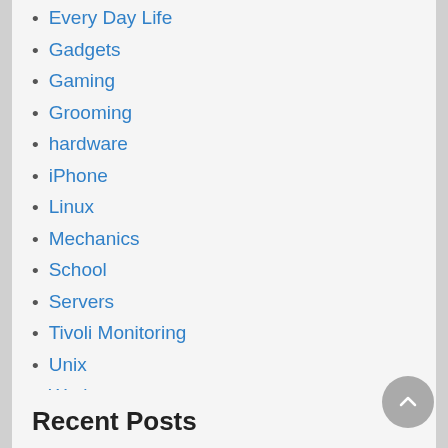Every Day Life
Gadgets
Gaming
Grooming
hardware
iPhone
Linux
Mechanics
School
Servers
Tivoli Monitoring
Unix
Work
Recent Posts
Anker 10 Port USB Hub – AK-68ANHUB-B10A
Installing Teamspeak 3 on CentOS 7.2